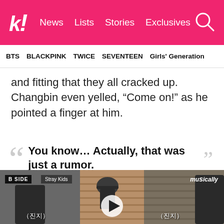k! News Lists Stories Exclusives
BTS  BLACKPINK  TWICE  SEVENTEEN  Girls' Generation
and fitting that they all cracked up. Changbin even yelled, “Come on!” as he pointed a finger at him.
You know… Actually, that was just a rumor.
[Figure (screenshot): Video thumbnail showing Stray Kids in a recording studio with B SIDE and Stray Kids labels, musically branding, Korean subtitles (진지), and a play button overlay.]